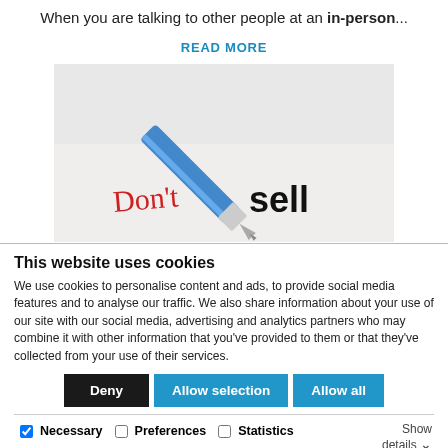When you are talking to other people at an in-person...
READ MORE
[Figure (photo): Close-up photo of a blue ballpoint pen writing 'DON'T sell' on white paper, with 'DON'T' in red handwriting and 'sell' in bold black print.]
This website uses cookies
We use cookies to personalise content and ads, to provide social media features and to analyse our traffic. We also share information about your use of our site with our social media, advertising and analytics partners who may combine it with other information that you've provided to them or that they've collected from your use of their services.
Deny | Allow selection | Allow all
Necessary  Preferences  Statistics  Marketing  Show details